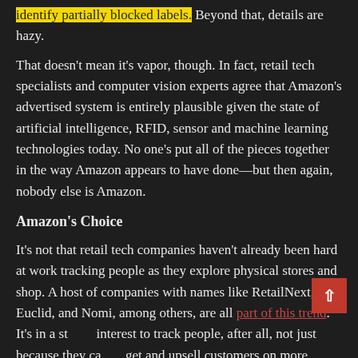identify partially blocked labels. Beyond that, details are hazy.
That doesn't mean it's vapor, though. In fact, retail tech specialists and computer vision experts agree that Amazon's advertised system is entirely plausible given the state of artificial intelligence, RFID, sensor and machine learning technologies today. No one's put all of the pieces together in the way Amazon appears to have done—but then again, nobody else is Amazon.
Amazon's Choice
It's not that retail tech companies haven't already been hard at work tracking people as they explore physical stores and shop. A host of companies with names like RetailNext, Euclid, and Nomi, among others, are all part of this trend. It's in a store's interest to track people, after all, not just because they can target and upsell customers on more products and in-store promotions.